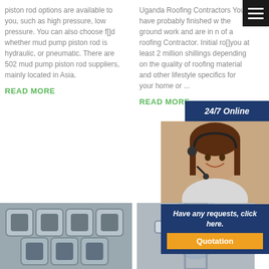piston rod options are available to you, such as high pressure, low pressure. You can also choose f[]d whether mud pump piston rod is hydraulic, or pneumatic. There are 502 mud pump piston rod suppliers, mainly located in Asia.
READ MORE
Uganda Roofing Contractors You have probably finished w the ground work and are in n of a roofing Contractor. Initial ro[]you at least 2 million shillings depending on the quality of roofing material and other lifestyle specifics for your home or ...
READ MORE
24/7 Online
[Figure (photo): Customer service representative woman wearing headset, smiling]
Have any requests, click here.
Quotation
[Figure (photo): Industrial metal hollow square tubes stacked]
[Figure (photo): Industrial machinery or piping equipment]